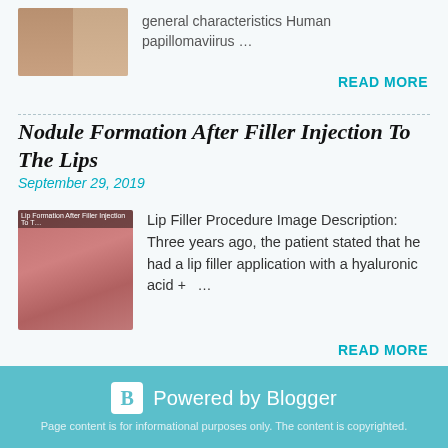[Figure (photo): Two close-up dental/teeth images side by side as thumbnail]
general characteristics Human papillomavir… …
READ MORE
Nodule Formation After Filler Injection To The Lips
September 29, 2019
[Figure (photo): Close-up photo of lips after filler injection showing nodule formation]
Lip Filler Procedure Image Description: Three years ago, the patient stated that he had a lip filler application with a hyaluronic acid + …
READ MORE
Powered by Blogger
Page content is for informational purposes only. The content is copyrighted.